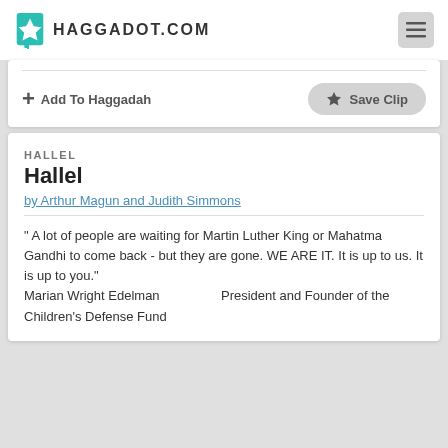HAGGADOT.COM
Add To Haggadah   Save Clip
HALLEL
Hallel
by Arthur Magun and Judith Simmons
" A lot of people are waiting for Martin Luther King or Mahatma Gandhi to come back  - but they are gone. WE ARE IT.    It is up to us.    It is up to you." Marian Wright Edelman                 President and Founder of the Children's Defense Fund